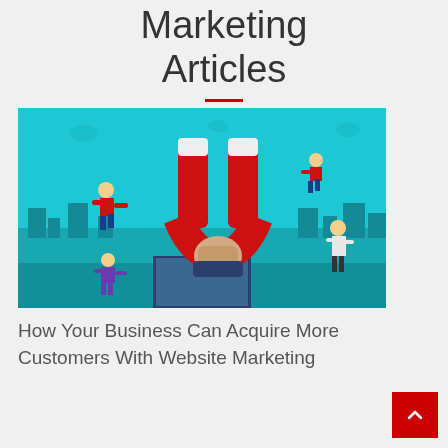Marketing Articles
[Figure (illustration): Illustration of a hand holding a large red horseshoe magnet emerging from a computer monitor, with several cartoon people being attracted toward the magnet, set against a teal/cyan background with a city skyline silhouette.]
How Your Business Can Acquire More Customers With Website Marketing